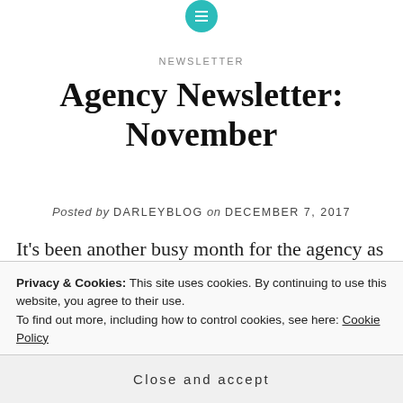[Figure (logo): Teal circular icon with hamburger/menu lines symbol at the top of the page]
NEWSLETTER
Agency Newsletter: November
Posted by DARLEYBLOG on DECEMBER 7, 2017
It's been another busy month for the agency as lots of fantastic deals are still coming in off the back of a successful Frankfurt…
Privacy & Cookies: This site uses cookies. By continuing to use this website, you agree to their use.
To find out more, including how to control cookies, see here: Cookie Policy
Close and accept